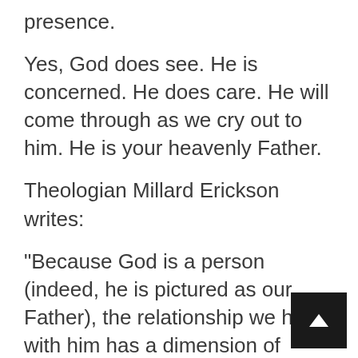presence.
Yes, God does see. He is concerned. He does care. He will come through as we cry out to him. He is your heavenly Father.
Theologian Millard Erickson writes:
“Because God is a person (indeed, he is pictured as our Father), the relationship we have with him has a dimension of warmth and understanding. God is not a bureau or a department; he is not a machine or a computer that automatically supplies